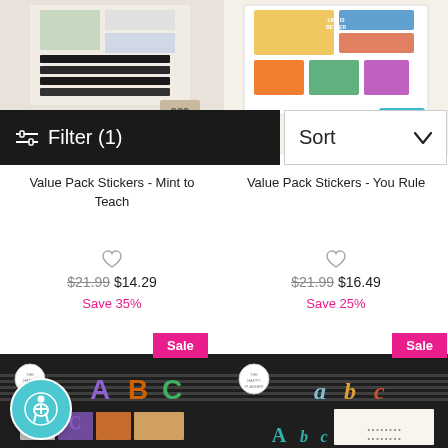[Figure (photo): Product image of Value Pack Stickers - Mint to Teach, showing sticker sheets, 932 count badge]
[Figure (photo): Product image of Value Pack Stickers - You Rule, showing sticker sheets, 844 count badge, blue border]
Filter (1)
Sort
Value Pack Stickers - Mint to Teach
Value Pack Stickers - You Rule
$21.99  $14.29
Save 35%
$21.99  $16.49
Save 25%
Sale
Sale
[Figure (photo): Bottom left product image - ABC letter sticker pack with colorful letters on dark background]
[Figure (photo): Bottom right product image - ABC letter sticker pack with script/lowercase letters on dark background]